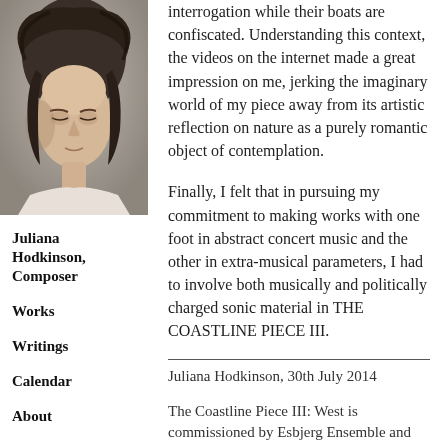[Figure (photo): Black and white close-up photograph of a woman (Juliana Hodkinson) with curly hair, looking downward.]
Juliana Hodkinson, Composer
Works
Writings
Calendar
About
interrogation while their boats are confiscated. Understanding this context, the videos on the internet made a great impression on me, jerking the imaginary world of my piece away from its artistic reflection on nature as a purely romantic object of contemplation.
Finally, I felt that in pursuing my commitment to making works with one foot in abstract concert music and the other in extra-musical parameters, I had to involve both musically and politically charged sonic material in THE COASTLINE PIECE III.
Juliana Hodkinson, 30th July 2014
The Coastline Piece III: West is commissioned by Esbjerg Ensemble and